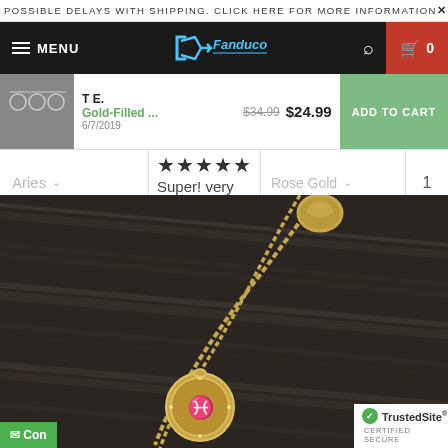POSSIBLE DELAYS WITH SHIPPING. CLICK HERE FOR MORE INFORMATION
[Figure (screenshot): Fanduco e-commerce website navigation bar with hamburger menu, logo, search icon, and cart button showing 0 items]
T E.
Gold-Filled ...
6/7/2019
$34.99 $24.99
ADD TO CART
★★★★★
Aries
Rose Gold
1
Super! very beautiful
[Figure (photo): Close-up photo of a gold-filled zodiac necklace with a circular pendant featuring a zodiac sign, on a dark wood surface]